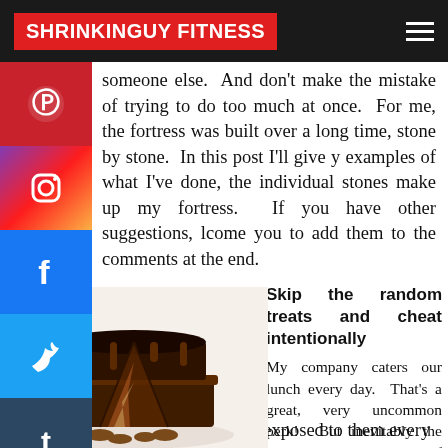SHRINKINGUY FITNESS
someone else.  And don't make the mistake of trying to do too much at once.  For me, the fortress was built over a long time, stone by stone.  In this post I'll give y examples of what I've done, the individual stones make up my fortress.  If you have other suggestions, lcome you to add them to the comments at the end.
[Figure (photo): Chocolate layer cake with frosting and pecans on a white plate]
Skip the random treats and cheat intentionally
My company caters our lunch every day.  That's a great, very uncommon perk!  But inevitably the caterer will bring a batch of desserts, like brownies or eclairs.  I love brownies and eclairs.  Being exposed to them every